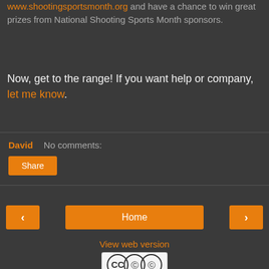www.shootingsportsmonth.org and have a chance to win great prizes from National Shooting Sports Month sponsors.
Now, get to the range! If you want help or company, let me know.
David   No comments:
Share
[Figure (other): Navigation buttons: left arrow, Home, right arrow]
View web version
[Figure (logo): Creative Commons BY-NC license icon]
This work is licensed under a Creative Commons Attribution-NonCommercial 4.0 International License